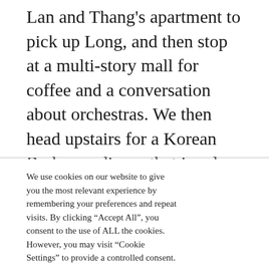Lan and Thang's apartment to pick up Long, and then stop at a multi-story mall for coffee and a conversation about orchestras. We then head upstairs for a Korean Barbecue dinner that involves thin meat cooked on an air-heated grill right in our own private dining room. The meat is then wrapped in lettuce with
We use cookies on our website to give you the most relevant experience by remembering your preferences and repeat visits. By clicking “Accept All”, you consent to the use of ALL the cookies. However, you may visit “Cookie Settings” to provide a controlled consent.